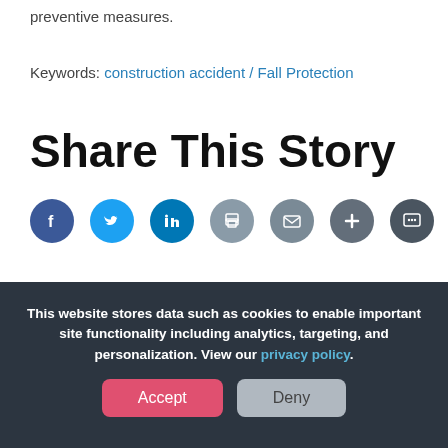preventive measures.
Keywords: construction accident / Fall Protection
Share This Story
[Figure (infographic): Social sharing icons: Facebook, Twitter, LinkedIn, Print, Email, Plus, Message]
This website stores data such as cookies to enable important site functionality including analytics, targeting, and personalization. View our privacy policy.
Accept | Deny